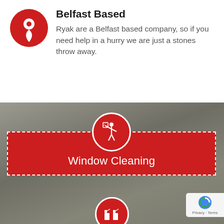[Figure (illustration): Red circular location pin icon with white map marker shape]
Belfast Based
Ryak are a Belfast based company, so if you need help in a hurry we are just a stones throw away.
[Figure (illustration): Dark grey blurred background section with a red banner containing a white circle icon of a person cleaning a window, dashed white border around the red banner, labeled Window Cleaning. A second partial red circle icon with a cleaning spray icon visible at the bottom.]
Window Cleaning